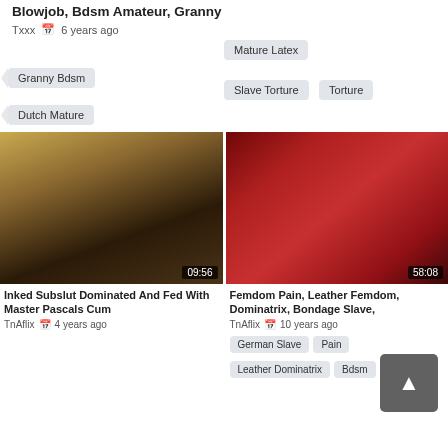Blowjob, Bdsm Amateur, Granny
Txxx   6 years ago
Mature Latex
Granny Bdsm
Slave Torture
Torture
Dutch Mature
[Figure (photo): Video thumbnail: woman with purple hair on black couch, duration 09:56]
Inked Subslut Dominated And Fed With Master Pascals Cum
TnAflix   4 years ago
[Figure (photo): Video thumbnail: femdom scene with woman in red outfit, duration 58:08]
Femdom Pain, Leather Femdom, Dominatrix, Bondage Slave,
TnAflix   10 years ago
German Slave
Pain
Leather Dominatrix
Bdsm